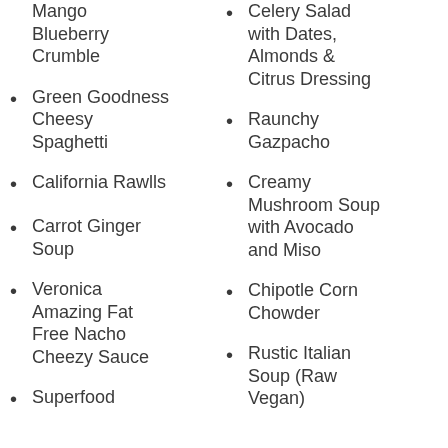Mango Blueberry Crumble
Green Goodness Cheesy Spaghetti
California Rawlls
Carrot Ginger Soup
Veronica Amazing Fat Free Nacho Cheezy Sauce
Superfood
Celery Salad with Dates, Almonds & Citrus Dressing
Raunchy Gazpacho
Creamy Mushroom Soup with Avocado and Miso
Chipotle Corn Chowder
Rustic Italian Soup (Raw Vegan)